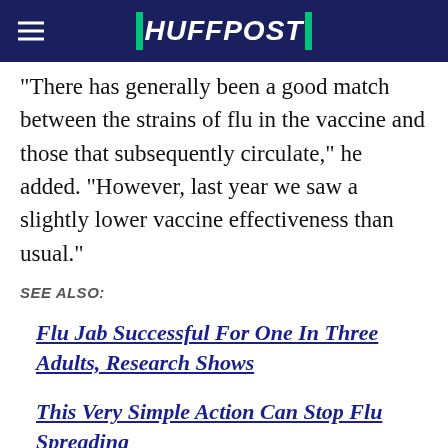HUFFPOST
There has generally been a good match between the strains of flu in the vaccine and those that subsequently circulate," he added. "However, last year we saw a slightly lower vaccine effectiveness than usual."
SEE ALSO:
Flu Jab Successful For One In Three Adults, Research Shows
This Very Simple Action Can Stop Flu Spreading
Treatment For Flu: Protein Discovery